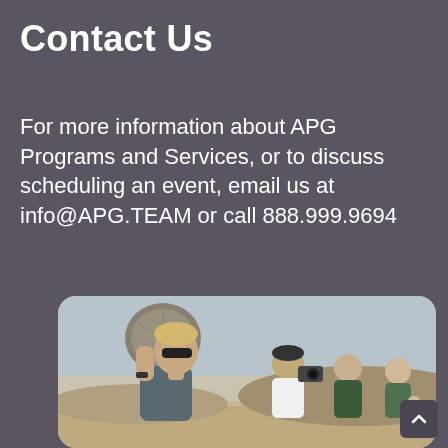Contact Us
For more information about APG Programs and Services, or to discuss scheduling an event, email us at info@APG.TEAM or call 888.999.9694
[Figure (photo): A man wearing sunglasses carrying a large log on his shoulder, with several people behind him including a cameraman, in an arid desert-like outdoor setting.]